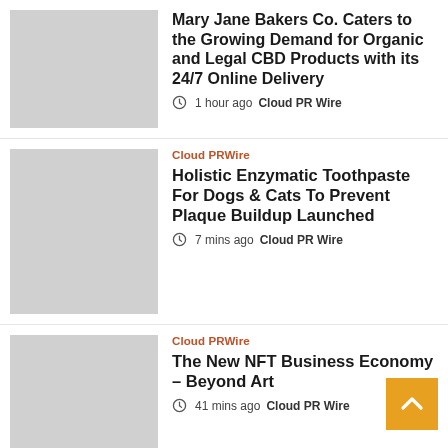Mary Jane Bakers Co. Caters to the Growing Demand for Organic and Legal CBD Products with its 24/7 Online Delivery — 1 hour ago  Cloud PR Wire
Cloud PRWire
Holistic Enzymatic Toothpaste For Dogs & Cats To Prevent Plaque Buildup Launched — 7 mins ago  Cloud PR Wire
Cloud PRWire
The New NFT Business Economy – Beyond Art — 41 mins ago  Cloud PR Wire
Cloud PRWire
Phillip Fehler Realtor Northgroup Real Estate Helps Sellers Build...